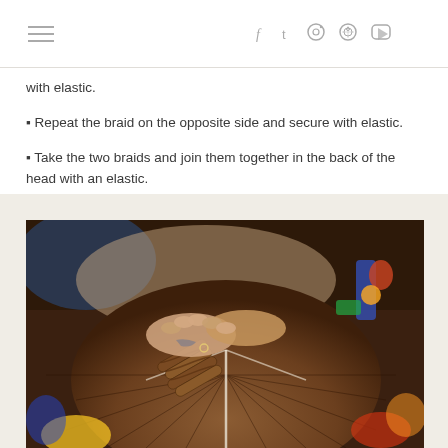≡   f  t  ○  ⊙  ▶
with elastic.
▪ Repeat the braid on the opposite side and secure with elastic.
▪ Take the two braids and join them together in the back of the head with an elastic.
[Figure (photo): Close-up photo of hands braiding a child's hair, with colorful accessories visible in the background. The child has brown hair and the braid is visible at the back of the head.]